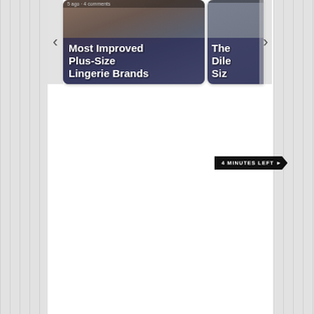[Figure (screenshot): A website screenshot showing two article cards side by side with navigation arrows. Left card shows 'Most Improved Plus-Size Lingerie Brands' with an image of a person in lingerie. Right card is partially visible showing 'The... Dile... Siz...' text. A '4 MINUTES LEFT' badge with arrow is visible in the middle-right area.]